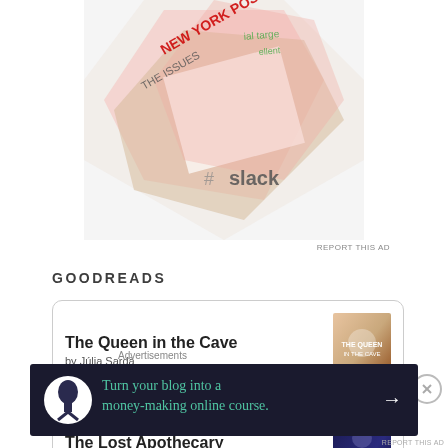[Figure (photo): Advertisement image showing overlapping magazine-style panels with text including 'New York Post', 'The Issues', 'ial target', 'ellent', and 'slack' logo]
REPORT THIS AD
GOODREADS
The Queen in the Cave by Júlia Sardà
The Lost Apothecary by Sarah Penner
If You Find a Leaf
Advertisements
[Figure (infographic): Dark advertisement banner: 'Turn your blog into a money-making online course.' with arrow and icon]